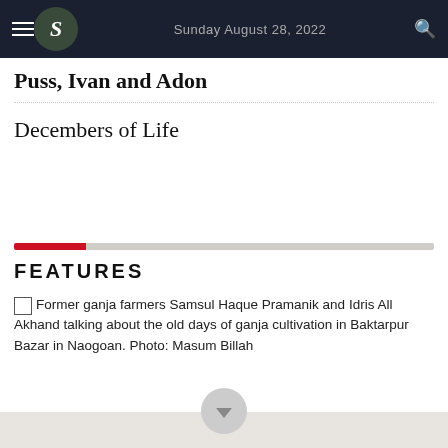Sunday August 28, 2022
Puss, Ivan and Adon
Decembers of Life
FEATURES
Former ganja farmers Samsul Haque Pramanik and Idris All Akhand talking about the old days of ganja cultivation in Baktarpur Bazar in Naogoan. Photo: Masum Billah